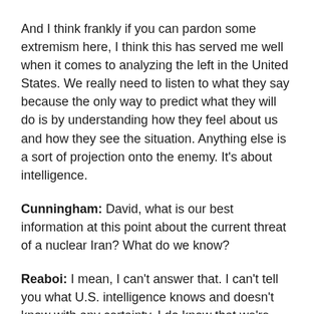And I think frankly if you can pardon some extremism here, I think this has served me well when it comes to analyzing the left in the United States. We really need to listen to what they say because the only way to predict what they will do is by understanding how they feel about us and how they see the situation. Anything else is a sort of projection onto the enemy. It's about intelligence.
Cunningham: David, what is our best information at this point about the current threat of a nuclear Iran? What do we know?
Reaboi: I mean, I can't answer that. I can't tell you what U.S. intelligence knows and doesn't know with any certainty. I do know that we're pretty late as far as the acquisition of a nuclear weapon goes. But I also know that as far as the Iranians view it, I mean, I think they pretty much have, an open field left in front of them because they know the Biden administration really...